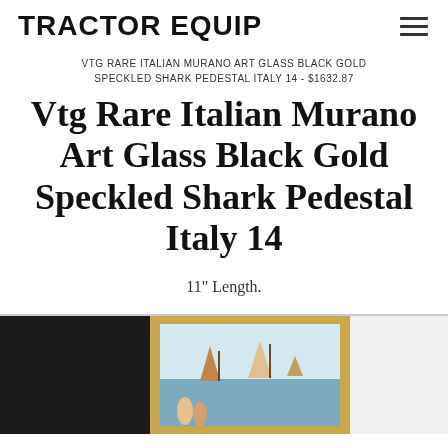TRACTOR EQUIP
VTG RARE ITALIAN MURANO ART GLASS BLACK GOLD SPECKLED SHARK PEDESTAL ITALY 14 - $1632.87
Vtg Rare Italian Murano Art Glass Black Gold Speckled Shark Pedestal Italy 14
11" Length.
[Figure (photo): Product photo showing a painting in a gold frame depicting a coastal/maritime scene with figures and sailboats]